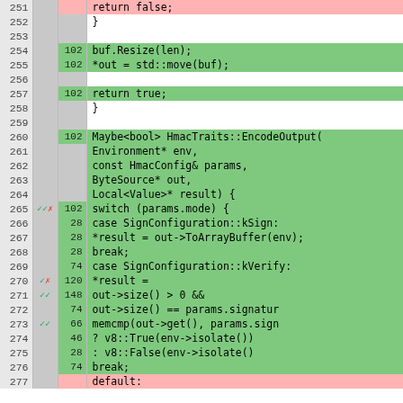[Figure (screenshot): Code coverage diff view showing C++ source lines 251-277. Line numbers in left column, coverage indicators (checkmarks/X) in second column, hit counts in third column, and source code in right column. Green background = covered lines, pink = uncovered, white = no code. Source code shows HmacTraits methods including buf.Resize, std::move, return true, EncodeOutput function with switch/case on params.mode.]